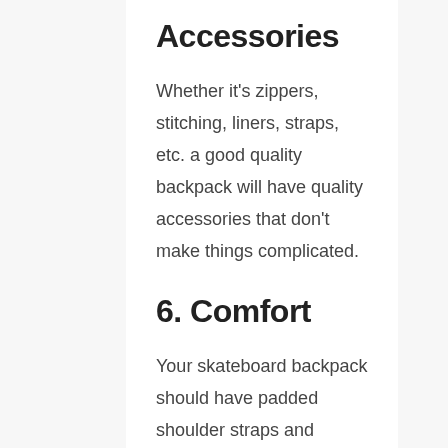Accessories
Whether it's zippers, stitching, liners, straps, etc. a good quality backpack will have quality accessories that don't make things complicated.
6. Comfort
Your skateboard backpack should have padded shoulder straps and sternum straps that make it easier to carry the loads. Back made of mesh material will allow better breathability. Waist and chest straps are optional, but it would